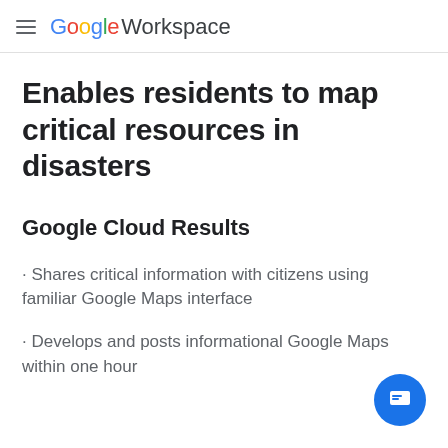Google Workspace
Enables residents to map critical resources in disasters
Google Cloud Results
Shares critical information with citizens using familiar Google Maps interface
Develops and posts informational Google M... within one hour